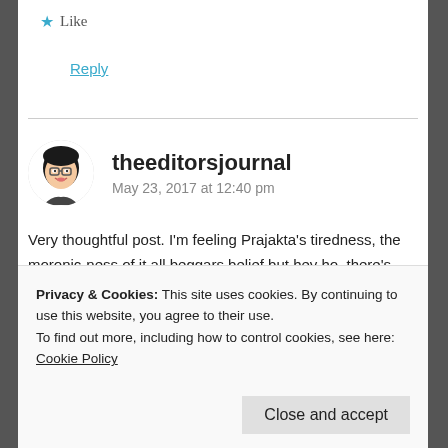★ Like
Reply
theeditorsjournal
May 23, 2017 at 12:40 pm
Very thoughtful post. I'm feeling Prajakta's tiredness, the moronic-ness of it all beggars belief but hey ho, there's always glimmers of hope, after all you're a guy and you put together this fine piece.
★ Like
Privacy & Cookies: This site uses cookies. By continuing to use this website, you agree to their use.
To find out more, including how to control cookies, see here: Cookie Policy
Close and accept